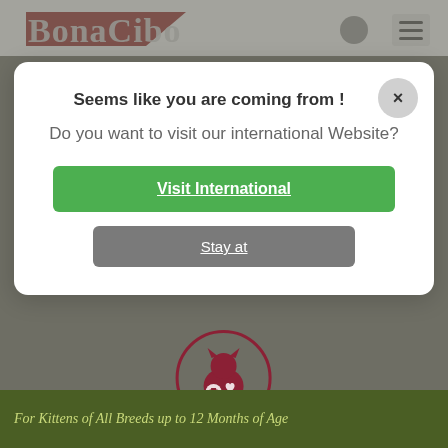[Figure (screenshot): BonaCibo pet food website with a modal dialog overlay. Background shows grey website content with logo and navigation. Modal contains redirect prompt with green and grey buttons. Below shows cat icon with 'Added Taurine' label. Green footer bar at bottom.]
Seems like you are coming from !
Do you want to visit our international Website?
Visit International
Stay at
Added Taurine
For Kittens of All Breeds up to 12 Months of Age